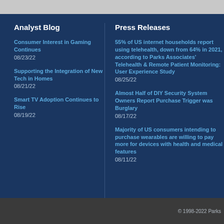Analyst Blog
Consumer Interest in Gaming Continues
08/23/22
Supporting the Integration of New Tech in Homes
08/21/22
Smart TV Adoption Continues to Rise
08/19/22
Press Releases
55% of US internet households report using telehealth, down from 64% in 2021, according to Parks Associates' Telehealth & Remote Patient Monitoring: User Experience Study
08/25/22
Almost Half of DIY Security System Owners Report Purchase Trigger was Burglary
08/17/22
Majority of US consumers intending to purchase wearables are willing to pay more for devices with health and medical features
08/11/22
© 1998-2022 Parks